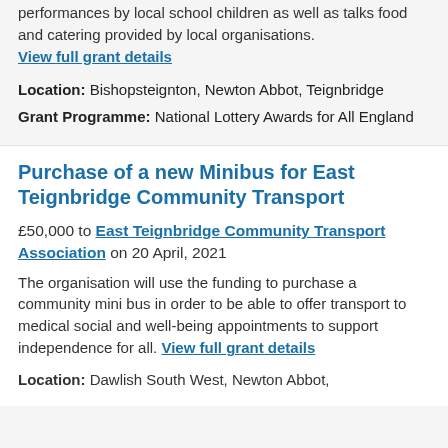performances by local school children as well as talks food and catering provided by local organisations.
View full grant details
Location: Bishopsteignton, Newton Abbot, Teignbridge
Grant Programme: National Lottery Awards for All England
Purchase of a new Minibus for East Teignbridge Community Transport
£50,000 to East Teignbridge Community Transport Association on 20 April, 2021
The organisation will use the funding to purchase a community mini bus in order to be able to offer transport to medical social and well-being appointments to support independence for all. View full grant details
Location: Dawlish South West, Newton Abbot,